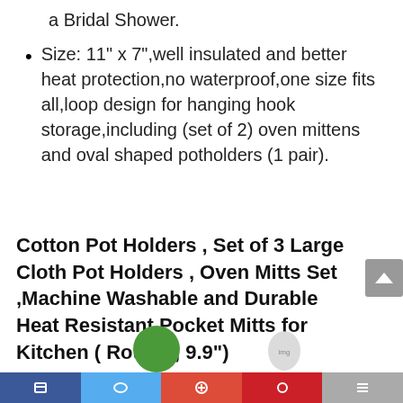a Bridal Shower.
Size: 11" x 7",well insulated and better heat protection,no waterproof,one size fits all,loop design for hanging hook storage,including (set of 2) oven mittens and oval shaped potholders (1 pair).
Cotton Pot Holders , Set of 3 Large Cloth Pot Holders , Oven Mitts Set ,Machine Washable and Durable Heat Resistant Pocket Mitts for Kitchen ( Round , 9.9")
[Figure (other): Bottom navigation bar with social media sharing icons (Facebook, Twitter, Pinterest, and others) plus partial product images]